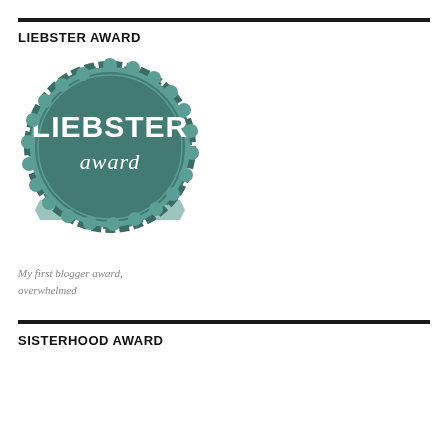LIEBSTER AWARD
[Figure (illustration): Liebster Award badge — a teal/green scalloped circular seal with the text LIEBSTER in large white letters, 'award' in white script below, and a ribbon banner reading 'discover new blogs!']
My first blogger award, overwhelmed
SISTERHOOD AWARD